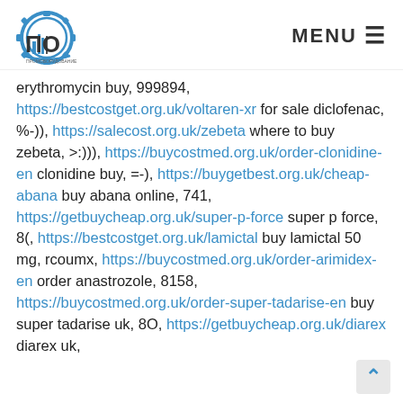ПО ПРОМОБОРУДОВАНИЕ | MENU
erythromycin buy, 999894, https://bestcostget.org.uk/voltaren-xr for sale diclofenac, %-)), https://salecost.org.uk/zebeta where to buy zebeta, >:))), https://buycostmed.org.uk/order-clonidine-en clonidine buy, =-), https://buygetbest.org.uk/cheap-abana buy abana online, 741, https://getbuycheap.org.uk/super-p-force super p force, 8(, https://bestcostget.org.uk/lamictal buy lamictal 50 mg, rcoumx, https://buycostmed.org.uk/order-arimidex-en order anastrozole, 8158, https://buycostmed.org.uk/order-super-tadarise-en buy super tadarise uk, 8O, https://getbuycheap.org.uk/diarex diarex uk,